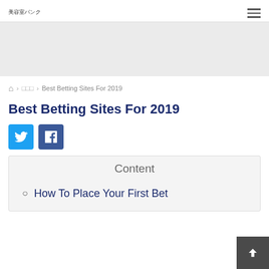美容室バンク
⌂ › □□□ › Best Betting Sites For 2019
Best Betting Sites For 2019
[Figure (other): Twitter and Facebook social share buttons]
Content
How To Place Your First Bet